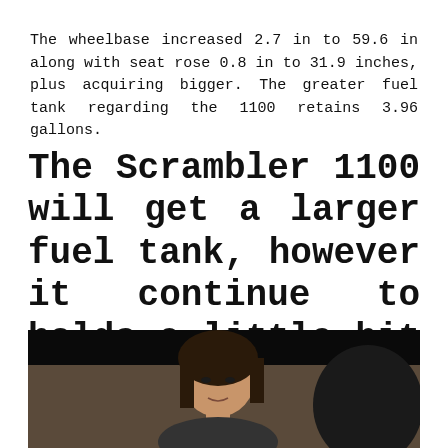The wheelbase increased 2.7 in to 59.6 in along with seat rose 0.8 in to 31.9 inches, plus acquiring bigger. The greater fuel tank regarding the 1100 retains 3.96 gallons.
The Scrambler 1100 will get a larger fuel tank, however it continue to holds a little bit below four gallons.
[Figure (photo): A woman with dark hair shown from the shoulders up, in a dimly lit indoor setting with dark background.]